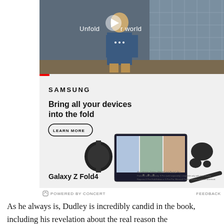[Figure (screenshot): Video thumbnail showing a young man in a school corridor with text 'Unfold your world' and a play button overlay]
[Figure (screenshot): Samsung advertisement for Galaxy Z Fold4 with tagline 'Bring all your devices into the fold', a LEARN MORE button, and images of Galaxy Watch, foldable phone with video call, Galaxy Buds, and S Pen]
POWERED BY CONCERT   FEEDBACK
As he always is, Dudley is incredibly candid in the book, including his revelation about the real reason the